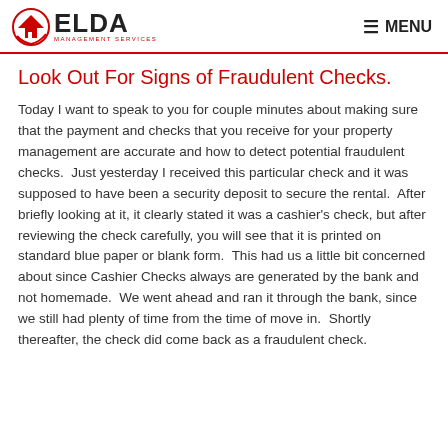ELDA MANAGEMENT SERVICES — MENU
Look Out For Signs of Fraudulent Checks.
Today I want to speak to you for couple minutes about making sure that the payment and checks that you receive for your property management are accurate and how to detect potential fraudulent checks.  Just yesterday I received this particular check and it was supposed to have been a security deposit to secure the rental.  After briefly looking at it, it clearly stated it was a cashier's check, but after reviewing the check carefully, you will see that it is printed on standard blue paper or blank form.  This had us a little bit concerned about since Cashier Checks always are generated by the bank and not homemade.  We went ahead and ran it through the bank, since we still had plenty of time from the time of move in.  Shortly thereafter, the check did come back as a fraudulent check.